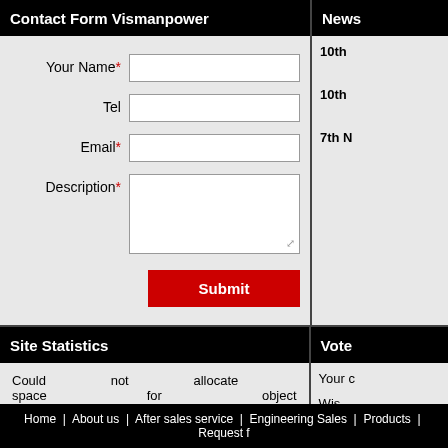Contact Form Vismanpower
News
Your Name*
Tel
Email*
Description*
Submit
10th
10th
7th N
Site Statistics
Vote
Could not allocate space for object sys.fulltext_index_docidstatus_2098822539.i1 in database visman.ir_db because the PRIMARY filegroup is full. Create disk space by deleting unneeded files, dropping objects in the filegroup, adding additional files to the filegroup, or setting autogrowth on for existing files in the filegroup.
Your c
Wis
Home  |  About us  |  After sales service  |  Engineering Sales  |  Products  |  Request f